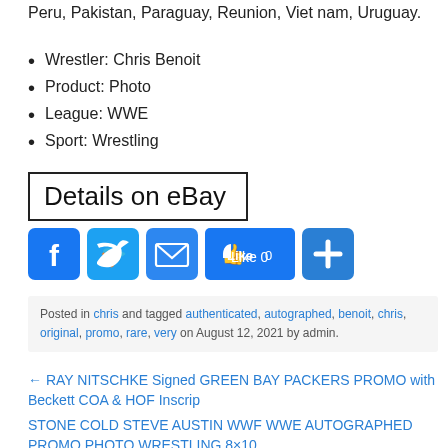Peru, Pakistan, Paraguay, Reunion, Viet nam, Uruguay.
Wrestler: Chris Benoit
Product: Photo
League: WWE
Sport: Wrestling
[Figure (other): Details on eBay button with black border]
[Figure (other): Social share icons: Facebook, Twitter, Email, Like 0, Plus]
Posted in chris and tagged authenticated, autographed, benoit, chris, original, promo, rare, very on August 12, 2021 by admin.
← RAY NITSCHKE Signed GREEN BAY PACKERS PROMO with Beckett COA & HOF Inscrip
STONE COLD STEVE AUSTIN WWF WWE AUTOGRAPHED PROMO PHOTO WRESTLING 8×10